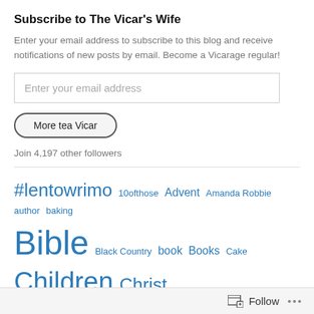Subscribe to The Vicar's Wife
Enter your email address to subscribe to this blog and receive notifications of new posts by email. Become a Vicarage regular!
Enter your email address
More tea Vicar
Join 4,197 other followers
#lentowrimo 10ofthose Advent Amanda Robbie author baking Bible Black Country book Books Cake Children Christ Christian Christianity Christmas Church